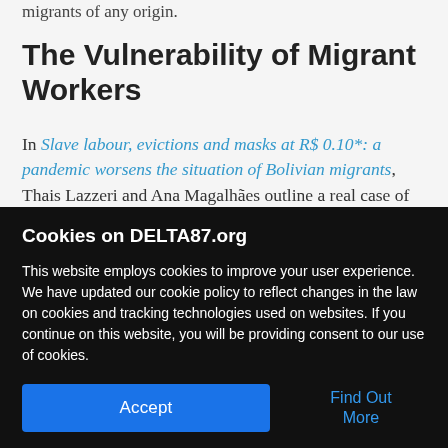migrants of any origin.
The Vulnerability of Migrant Workers
In Slave labour, evictions and masks at R$ 0.10*: a pandemic worsens the situation of Bolivian migrants, Thais Lazzeri and Ana Magalhães outline a real case of human trafficking and slave
Cookies on DELTA87.org
This website employs cookies to improve your user experience. We have updated our cookie policy to reflect changes in the law on cookies and tracking technologies used on websites. If you continue on this website, you will be providing consent to our use of cookies.
Accept
Find Out More